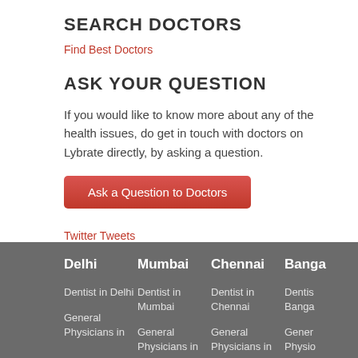SEARCH DOCTORS
Find Best Doctors
ASK YOUR QUESTION
If you would like to know more about any of the health issues, do get in touch with doctors on Lybrate directly, by asking a question.
Ask a Question to Doctors
Twitter Tweets
Delhi
Dentist in Delhi
General Physicians in
Mumbai
Dentist in Mumbai
General Physicians in
Chennai
Dentist in Chennai
General Physicians in
Banga
Dentis Banga
Gener Physio